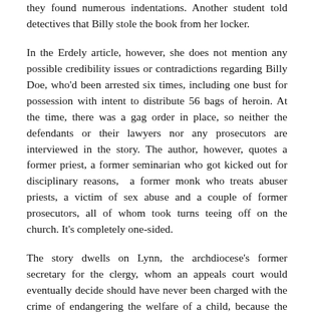they found numerous indentations. Another student told detectives that Billy stole the book from her locker.
In the Erdely article, however, she does not mention any possible credibility issues or contradictions regarding Billy Doe, who'd been arrested six times, including one bust for possession with intent to distribute 56 bags of heroin. At the time, there was a gag order in place, so neither the defendants or their lawyers nor any prosecutors are interviewed in the story. The author, however, quotes a former priest, a former seminarian who got kicked out for disciplinary reasons,  a former monk who treats abuser priests, a victim of sex abuse and a couple of former prosecutors, all of whom took turns teeing off on the church. It's completely one-sided.
The story dwells on Lynn, the archdiocese's former secretary for the clergy, whom an appeals court would eventually decide should have never been charged with the crime of endangering the welfare of a child, because the law didn't apply to him. It's a conclusion that a previous district